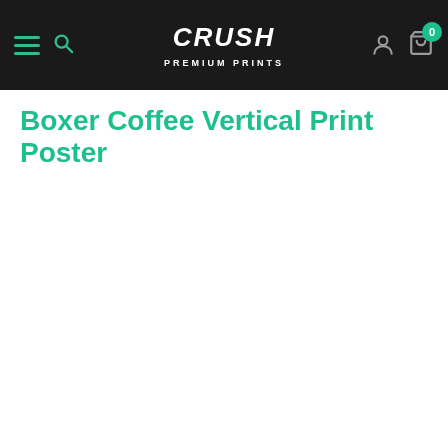Crush Premium Prints — navigation bar with hamburger menu, search, logo, account, and cart (0)
Boxer Coffee Vertical Print Poster